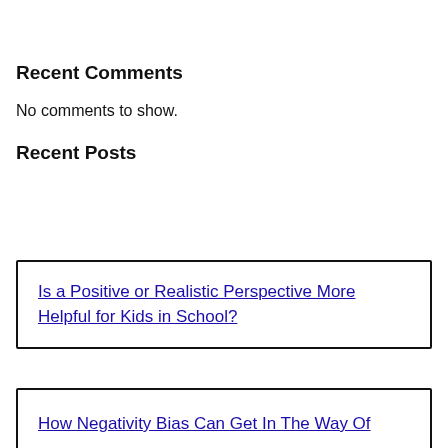Recent Comments
No comments to show.
Recent Posts
Is a Positive or Realistic Perspective More Helpful for Kids in School?
How Negativity Bias Can Get In The Way Of